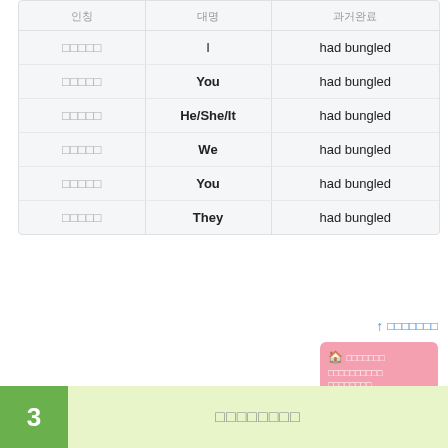| 인칭 | 대명 | 과거완료 |
| --- | --- | --- |
| 나나나나나 | I | had bungled |
| 나나나나나 | You | had bungled |
| 나나나나나 | He/She/It | had bungled |
| 나나나나나 | We | had bungled |
| 나나나나나 | You | had bungled |
| 나나나나나 | They | had bungled |
↑ 나나나나나나나
[Figure (other): Pink card with house icon and Korean text]
3 나나나나나나나나